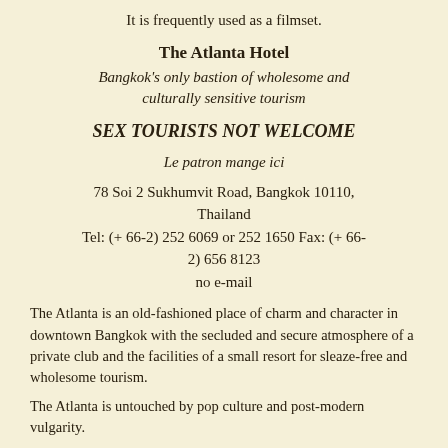It is frequently used as a filmset.
The Atlanta Hotel
Bangkok's only bastion of wholesome and culturally sensitive tourism
SEX TOURISTS NOT WELCOME
Le patron mange ici
78 Soi 2 Sukhumvit Road, Bangkok 10110, Thailand
Tel: (+ 66-2) 252 6069 or 252 1650 Fax: (+ 66-2) 656 8123
no e-mail
The Atlanta is an old-fashioned place of charm and character in downtown Bangkok with the secluded and secure atmosphere of a private club and the facilities of a small resort for sleaze-free and wholesome tourism.
The Atlanta is untouched by pop culture and post-modern vulgarity.
The Atlanta is popular with writers, academics, artists, cinema & theatre and other professional people, dreamers and innocuous eccentrics who